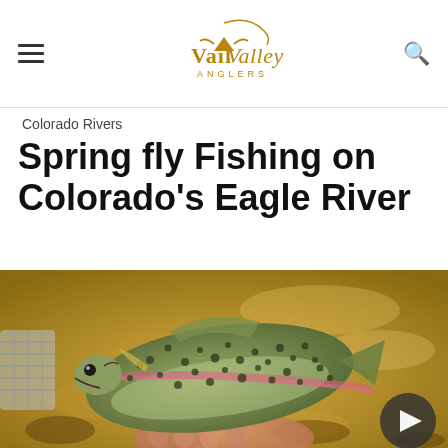Vail Valley Anglers
Colorado Rivers
Spring fly Fishing on Colorado's Eagle River
[Figure (photo): Close-up photo of a rainbow trout being held in shallow water of the Eagle River, Colorado. The fish shows typical rainbow trout coloring with dark spots on its back and a pink lateral stripe.]